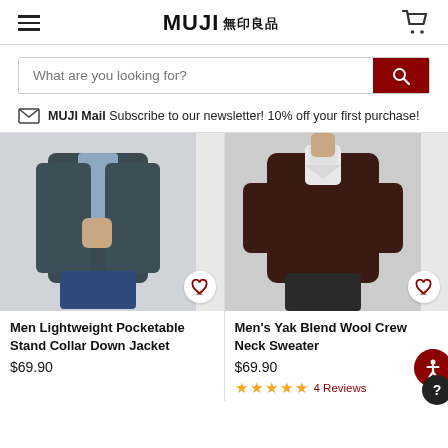MUJI 無印良品
What are you looking for?
MUJI Mail Subscribe to our newsletter! 10% off your first purchase!
[Figure (photo): Man wearing a dark grey lightweight pocketable stand collar down jacket over a light blue shirt with jeans]
Men Lightweight Pocketable Stand Collar Down Jacket
$69.90
[Figure (photo): Man wearing a dark brown yak blend wool crew neck sweater over a white shirt with dark trousers]
Men's Yak Blend Wool Crew Neck Sweater
$69.90
4 Reviews